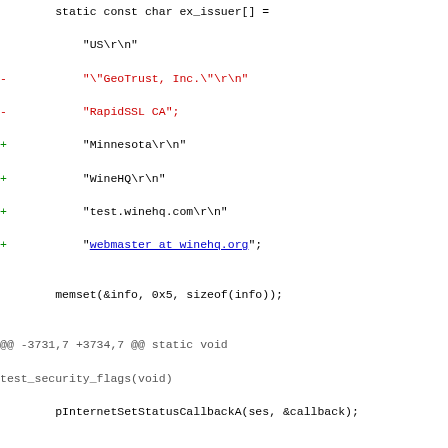Code diff showing changes to ex_issuer[] array and test_security_flags function, replacing GeoTrust/RapidSSL CA references with Minnesota/WineHQ/test.winehq.com references, and updating InternetConnectA call from test.winehq.org to test.winehq.com.